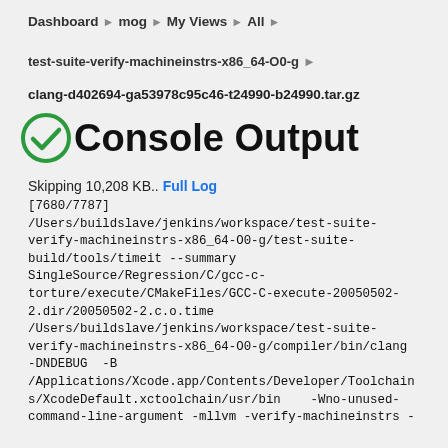Dashboard ▸ mog ▸ My Views ▸ All ▸
test-suite-verify-machineinstrs-x86_64-O0-g ▸
clang-d402694-ga53978c95c46-t24990-b24990.tar.gz
Console Output
Skipping 10,208 KB.. Full Log
[7680/7787]
/Users/buildslave/jenkins/workspace/test-suite-verify-machineinstrs-x86_64-O0-g/test-suite-build/tools/timeit --summary SingleSource/Regression/C/gcc-c-torture/execute/CMakeFiles/GCC-C-execute-20050502-2.dir/20050502-2.c.o.time
/Users/buildslave/jenkins/workspace/test-suite-verify-machineinstrs-x86_64-O0-g/compiler/bin/clang
-DNDEBUG  -B
/Applications/Xcode.app/Contents/Developer/Toolchains/XcodeDefault.xctoolchain/usr/bin    -Wno-unused-command-line-argument -mllvm -verify-machineinstrs -